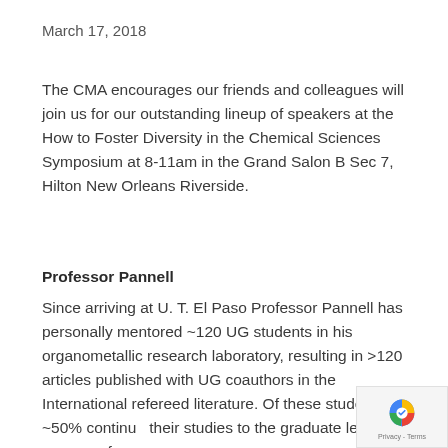March 17, 2018
The CMA encourages our friends and colleagues will join us for our outstanding lineup of speakers at the How to Foster Diversity in the Chemical Sciences Symposium at 8-11am in the Grand Salon B Sec 7, Hilton New Orleans Riverside.
Professor Pannell
Since arriving at U. T. El Paso Professor Pannell has personally mentored ~120 UG students in his organometallic research laboratory, resulting in >120 articles published with UG coauthors in the International refereed literature. Of these students, ~50% continue their studies to the graduate level at a range of